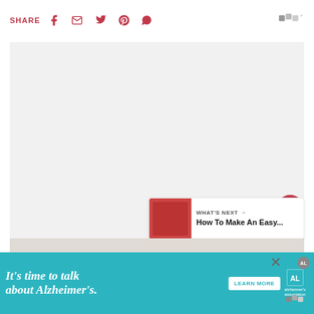SHARE
[Figure (screenshot): Website article page header with SHARE label and social media icons: Facebook, email, Twitter, Pinterest, WhatsApp; logo top right]
[Figure (photo): Large light-colored image area, mostly white/light gray background]
[Figure (infographic): Like button (red heart circle), count of 2, share button]
[Figure (screenshot): What's Next banner with thumbnail and text: How To Make An Easy...]
[Figure (photo): Partial second image at bottom of page]
[Figure (infographic): Advertisement banner: It's time to talk about Alzheimer's. LEARN MORE. Alzheimer's Association logo.]